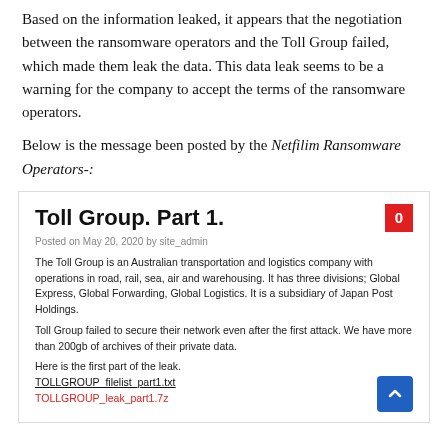Based on the information leaked, it appears that the negotiation between the ransomware operators and the Toll Group failed, which made them leak the data. This data leak seems to be a warning for the company to accept the terms of the ransomware operators.
Below is the message been posted by the Netfilim Ransomware Operators-:
[Figure (screenshot): Screenshot of a ransomware leak site post titled 'Toll Group. Part 1.' Posted on May 20, 2020 by site_admin. Includes a red badge with '0', description of Toll Group, and links to TOLLGROUP_filelist_part1.txt and TOLLGROUP_leak_part1.7z]